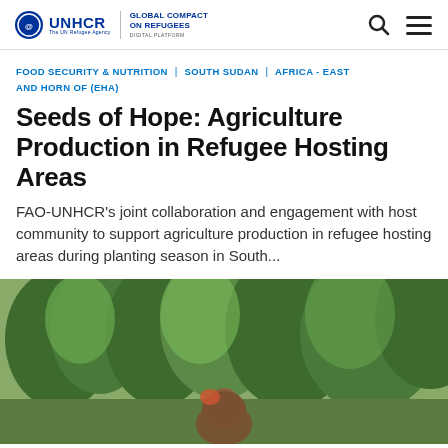UNHCR | GLOBAL COMPACT ON REFUGEES DIGITAL PLATFORM
FOOD SECURITY & NUTRITION | SOUTH SUDAN | AFRICA - EAST AND HORN OF (EHA)
Seeds of Hope: Agriculture Production in Refugee Hosting Areas
FAO-UNHCR's joint collaboration and engagement with host community to support agriculture production in refugee hosting areas during planting season in South...
[Figure (photo): Photo of a person among lush green trees and vegetation, outdoor scene with natural light]